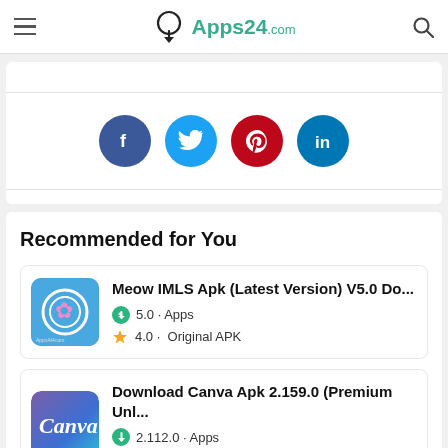Apps24.com
[Figure (infographic): Social share icons: Facebook, Twitter, Pinterest, LinkedIn]
Recommended for You
Meow IMLS Apk (Latest Version) V5.0 Do... | 5.0 · Apps | 4.0 · Original APK
Download Canva Apk 2.159.0 (Premium Unl... | 2.112.0 · Apps | 4.1 · Original APK